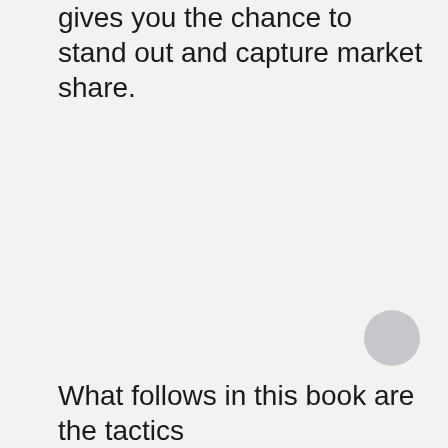gives you the chance to stand out and capture market share.
[Figure (other): Scroll-to-top button: circular grey button with upward-pointing white arrow]
What follows in this book are the tactics